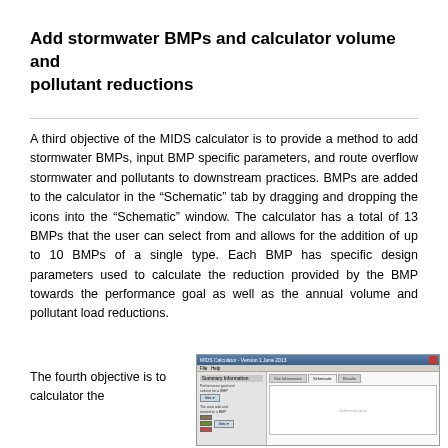Add stormwater BMPs and calculator volume and pollutant reductions
A third objective of the MIDS calculator is to provide a method to add stormwater BMPs, input BMP specific parameters, and route overflow stormwater and pollutants to downstream practices. BMPs are added to the calculator in the “Schematic” tab by dragging and dropping the icons into the “Schematic” window. The calculator has a total of 13 BMPs that the user can select from and allows for the addition of up to 10 BMPs of a single type. Each BMP has specific design parameters used to calculate the reduction provided by the BMP towards the performance goal as well as the annual volume and pollutant load reductions.
The fourth objective is to calculator the
[Figure (screenshot): Screenshot of the MIDS Calculator software interface showing the Summary Information panel on the left with input fields and buttons, and the main Schematic tab area on the right.]